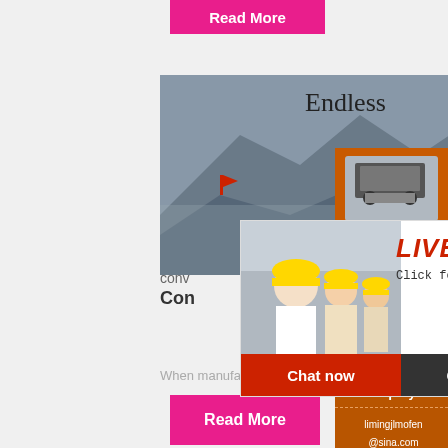[Figure (screenshot): Pink 'Read More' button at top]
[Figure (photo): Construction/quarry site with workers in yellow hard hats and mountain background]
Endless
conv
Con
[Figure (screenshot): Live chat overlay with worker photo, LIVE CHAT title, 'Click for a Free Consultation', Chat now and Chat later buttons]
When manufacture we make the endless
[Figure (screenshot): Pink 'Read More' button at bottom]
[Figure (screenshot): Right orange sidebar panel with mining machine images, 'Enjoy 3% discount', 'Click to Chat', 'Enquiry', and email limingjlmofen@sina.com]